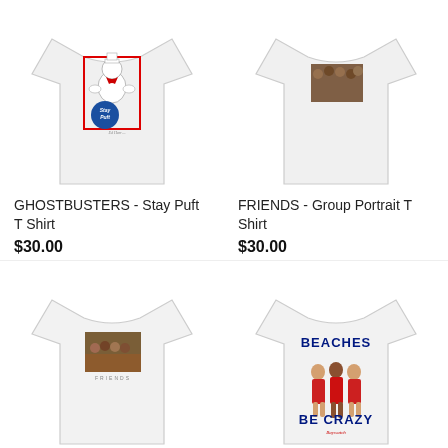[Figure (illustration): White t-shirt with Ghostbusters Stay Puft Marshmallow Man graphic and blue 'Stay Puft' circular logo]
GHOSTBUSTERS - Stay Puft T Shirt
$30.00
[Figure (illustration): White t-shirt with Friends TV show group portrait photo on chest]
FRIENDS - Group Portrait T Shirt
$30.00
[Figure (illustration): White t-shirt with Friends cast photo and FRIENDS text below]
[Figure (illustration): White t-shirt with Baywatch 'BEACHES BE CRAZY' graphic featuring women in red swimsuits]